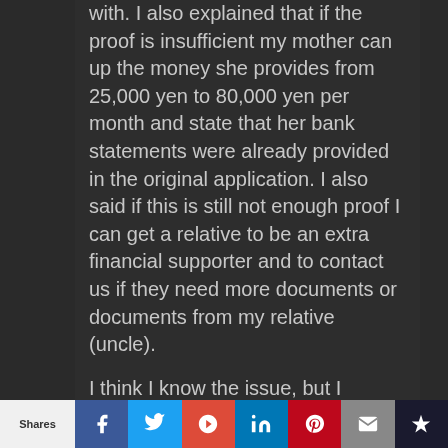with. I also explained that if the proof is insufficient my mother can up the money she provides from 25,000 yen to 80,000 yen per month and state that her bank statements were already provided in the original application. I also said if this is still not enough proof I can get a relative to be an extra financial supporter and to contact us if they need more documents or documents from my relative (uncle).
I think I know the issue, but I figured this out after my mother in law already submitted these new documents. My bank...
Shares | Facebook | Twitter | Google+ | LinkedIn | Pinterest | Email | Bookmark